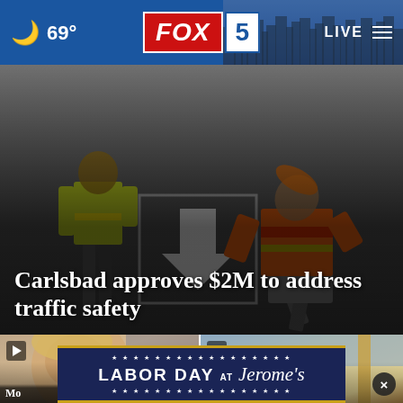🌙 69° FOX 5 LIVE ☰
[Figure (screenshot): Road workers in high-visibility vests painting or marking a road surface with a white directional arrow. Workers crouching and standing on dark asphalt.]
Carlsbad approves $2M to address traffic safety
[Figure (photo): Video thumbnail showing a close-up of a child's face with blonde hair. Play button icon in top-left corner. Partial text caption 'Mo' at bottom.]
[Figure (photo): Video thumbnail showing a sandy beach scene with blue ocean water and a wooden post/fence. Play button icon in top-left corner. Close (X) button visible. Partial text caption at bottom.]
[Figure (infographic): Labor Day at Jerome's advertisement banner with dark navy blue background, gold/yellow border lines, white stars pattern rows above and below text reading 'LABOR DAY AT Jerome's']